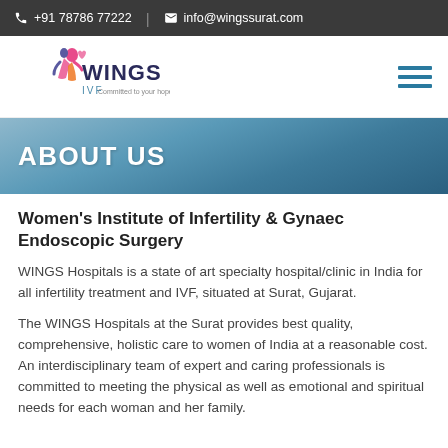+91 78786 77222 | info@wingssurat.com
[Figure (logo): WINGS IVF hospital logo with colorful figure design and text 'WINGS IVF']
ABOUT US
Women's Institute of Infertility & Gynaec Endoscopic Surgery
WINGS Hospitals is a state of art specialty hospital/clinic in India for all infertility treatment and IVF, situated at Surat, Gujarat.
The WINGS Hospitals at the Surat provides best quality, comprehensive, holistic care to women of India at a reasonable cost. An interdisciplinary team of expert and caring professionals is committed to meeting the physical as well as emotional and spiritual needs for each woman and her family.